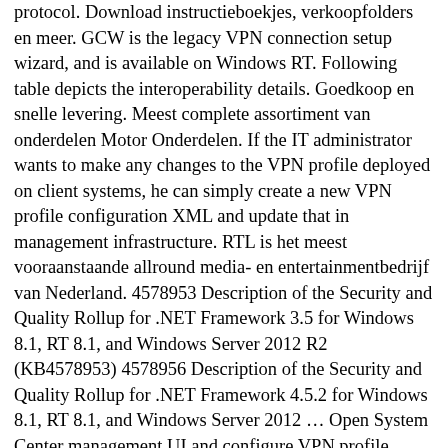protocol. Download instructieboekjes, verkoopfolders en meer. GCW is the legacy VPN connection setup wizard, and is available on Windows RT. Following table depicts the interoperability details. Goedkoop en snelle levering. Meest complete assortiment van onderdelen Motor Onderdelen. If the IT administrator wants to make any changes to the VPN profile deployed on client systems, he can simply create a new VPN profile configuration XML and update that in management infrastructure. RTL is het meest vooraanstaande allround media- en entertainmentbedrijf van Nederland. 4578953 Description of the Security and Quality Rollup for .NET Framework 3.5 for Windows 8.1, RT 8.1, and Windows Server 2012 R2 (KB4578953) 4578956 Description of the Security and Quality Rollup for .NET Framework 4.5.2 for Windows 8.1, RT 8.1, and Windows Server 2012 … Open System Center management UI and configure VPN profile configuration XML for clients. For more extensive information about deploying .NET Framework 3.5, see Microsoft .NET Framework 3.5 Deployment Considerations. We also liked that it offers real 1 Gbps Ethernet connections, very good firmware with support for multiple languages and useful extra-features, and it can be easily mounted on walls. Deploy and Configure a VPN for Devices Running Windows RT. John verklaart Robin vogelvrij en Robin vlucht Sherwood Forest in met zijn vrienden kleine John, broeder Tuck, … Admin delivers the script and instructions to users via email or a web portal. To authenticate with an OTP, the user enters the OTP user name and passcode for the VPN profile. 4578953…